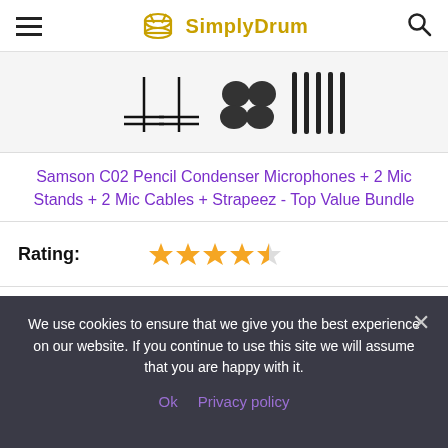SimplyDrum
[Figure (illustration): Product image showing mic stands, mic clips, and cable ties/strapeez accessories for the bundle]
Samson C02 Pencil Condenser Microphones + 2 Mic Stands + 2 Mic Cables + Strapeez - Top Value Bundle
| Field | Value |
| --- | --- |
| Rating: | 4.5 stars |
| Price: | $159.95 |
We use cookies to ensure that we give you the best experience on our website. If you continue to use this site we will assume that you are happy with it.
Ok  Privacy policy